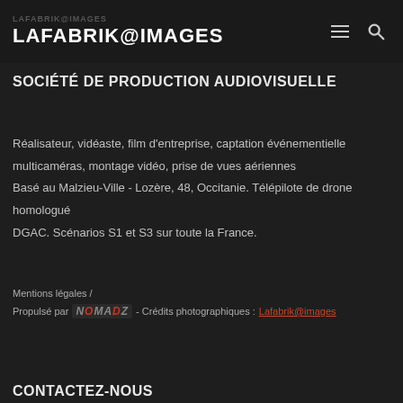LAFABRIK@IMAGES (top) LAFABRIK@IMAGES (main)
SOCIÉTÉ DE PRODUCTION AUDIOVISUELLE
Réalisateur, vidéaste, film d'entreprise, captation événementielle multicaméras, montage vidéo, prise de vues aériennes Basé au Malzieu-Ville - Lozère, 48, Occitanie. Télépilote de drone homologué DGAC. Scénarios S1 et S3 sur toute la France.
Mentions légales / Propulsé par NOMADZ - Crédits photographiques : Lafabrik@images
CONTACTEZ-NOUS